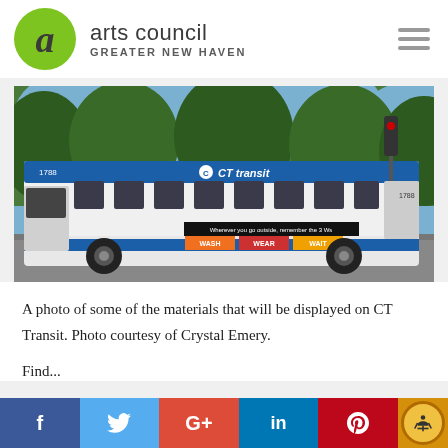arts council GREATER NEW HAVEN
[Figure (photo): A CT Transit bus number 1788 on a street, with colorful COVID-19 health messaging on the side reading 'Wherever you go outside, remember the 3 Ws' with WASH, WEAR, WAIT panels. Trees and a traffic light visible in the background.]
A photo of some of the materials that will be displayed on CT Transit. Photo courtesy of Crystal Emery.
Find...
f  t  G+  in  p  [accessibility icon]